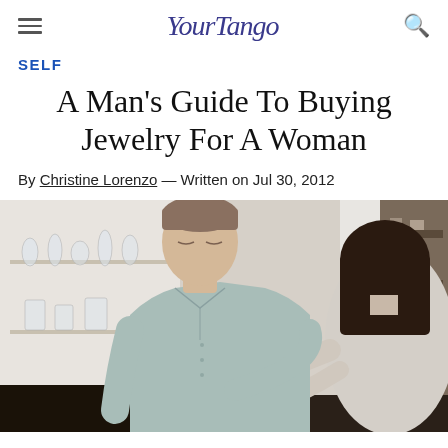YourTango
SELF
A Man's Guide To Buying Jewelry For A Woman
By Christine Lorenzo — Written on Jul 30, 2012
[Figure (photo): A young man in a light blue button-up shirt looking down, while a woman with dark hair reaches toward him with both hands, appearing to show or hand him something small. They are in a shop or domestic setting with shelves of glassware in the background.]